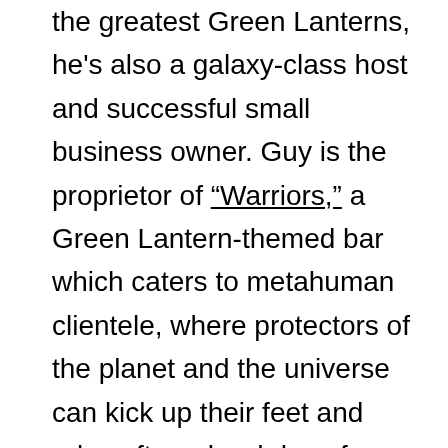the greatest Green Lanterns, he's also a galaxy-class host and successful small business owner. Guy is the proprietor of "Warriors," a Green Lantern-themed bar which caters to metahuman clientele, where protectors of the planet and the universe can kick up their feet and relax after a hard day of battling cosmic level threats. With locations on Earth and Oa, Guy always makes time to pour you a glass and lend an ear to your troubles about how your antimatter Universe doppelganger is hunting every version of you in the Multiverse. Or whatever your super-problems happen to be. At Warriors, you're among the